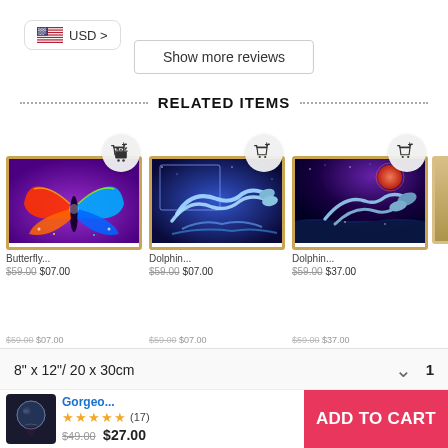[Figure (screenshot): USD currency selector button with US flag icon]
Show more reviews
RELATED ITEMS
[Figure (photo): Colorful butterfly diamond painting - rainbow wings on purple background]
[Figure (photo): Dolphins leaping in space/galaxy themed diamond painting]
[Figure (photo): Dolphins under red moon/cosmic sky diamond painting]
Gorgeo...
★★★★★ (17)
$49.00 $27.00
ADD TO CART
8" x 12"/ 20 x 30cm
1